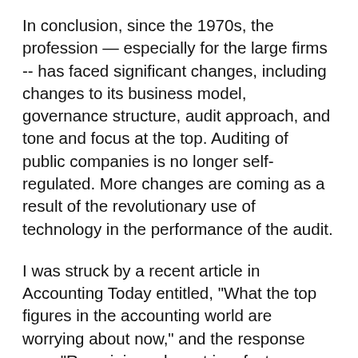In conclusion, since the 1970s, the profession — especially for the large firms -- has faced significant changes, including changes to its business model, governance structure, audit approach, and tone and focus at the top. Auditing of public companies is no longer self-regulated. More changes are coming as a result of the revolutionary use of technology in the performance of the audit.
I was struck by a recent article in Accounting Today entitled, "What the top figures in the accounting world are worrying about now," and the response was: "Remaining relevant in a fast changing business and economic environment, recruiting and retaining staff in the face of mass retirement of the Baby Boomers, continuing problems with